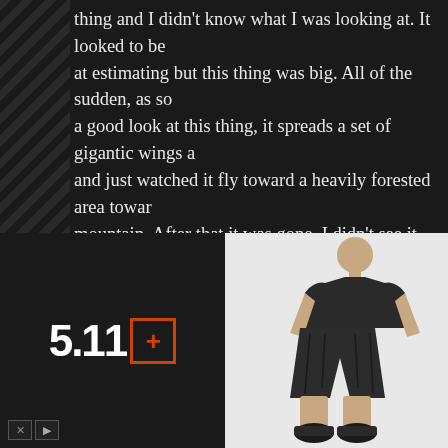thing and I didn't know what I was looking at. It looked to be at estimating but this thing was big. All of the sudden, as so a good look at this thing, it spreads a set of gigantic wings a and just watched it fly toward a heavily forested area towar mountain. After that it was gone. I didn't see it later that nig travels.
I've tried to research into similar stories or any stories from The closest thing I could find are the stories of the Mothma matches my description of the creature or if I was in the rig thing to keep in mind is that there are many Native America biggest being the Navajo reservation just being a couple ho the next best idea is that it was a Skinwalker. Being Native skinwalkers in a "deeper" way and have had many encount much more explainable, if you want to call it that. I don't thi When a skinwalker is around you get overwhelmed with thi
[Figure (photo): Advertisement for 5.11 brand showing logo on left (dark background with orange 5.11 text and orange bordered plus box icon) and a person wearing tactical/military style shorts on right (light gray background), with navigation controls at bottom left]